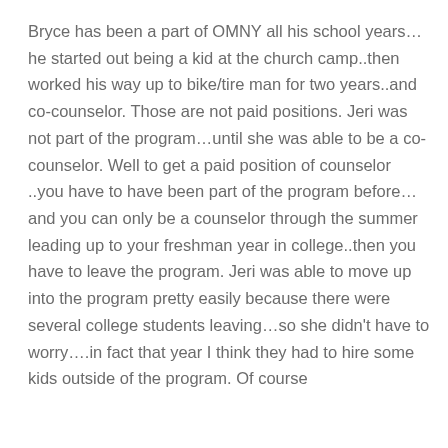Bryce has been a part of OMNY all his school years…he started out being a kid at the church camp..then worked his way up to bike/tire man for two years..and co-counselor. Those are not paid positions. Jeri was not part of the program…until she was able to be a co-counselor. Well to get a paid position of counselor ..you have to have been part of the program before…and you can only be a counselor through the summer leading up to your freshman year in college..then you have to leave the program. Jeri was able to move up into the program pretty easily because there were several college students leaving…so she didn't have to worry….in fact that year I think they had to hire some kids outside of the program. Of course